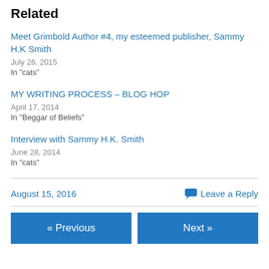Related
Meet Grimbold Author #4, my esteemed publisher, Sammy H.K Smith
July 26, 2015
In "cats"
MY WRITING PROCESS – BLOG HOP
April 17, 2014
In "Beggar of Beliefs"
Interview with Sammy H.K. Smith
June 28, 2014
In "cats"
August 15, 2016    Leave a Reply
« Previous    Next »